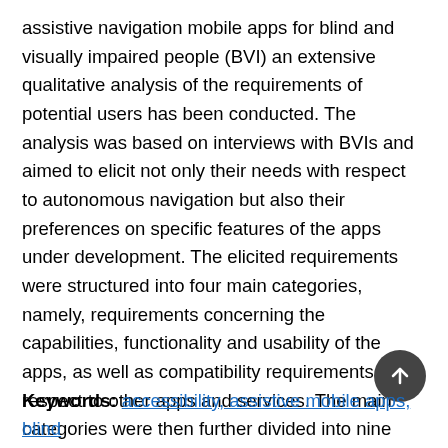assistive navigation mobile apps for blind and visually impaired people (BVI) an extensive qualitative analysis of the requirements of potential users has been conducted. The analysis was based on interviews with BVIs and aimed to elicit not only their needs with respect to autonomous navigation but also their preferences on specific features of the apps under development. The elicited requirements were structured into four main categories, namely, requirements concerning the capabilities, functionality and usability of the apps, as well as compatibility requirements with respect to other apps and services. The main categories were then further divided into nine sub-categories. This classification, along with its content, aims to become a useful tool for the researcher or the developer who is involved in the development of digital services for BVI.
Keywords: accessibility, assistive mobile apps, blind